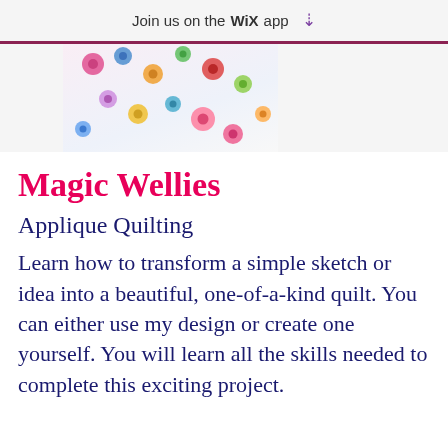Join us on the WiX app
[Figure (photo): Colorful scattered buttons or circular fabric pieces on a light background, partial view]
Magic Wellies
Applique Quilting
Learn how to transform a simple sketch or idea into a beautiful, one-of-a-kind quilt. You can either use my design or create one yourself. You will learn all the skills needed to complete this exciting project.